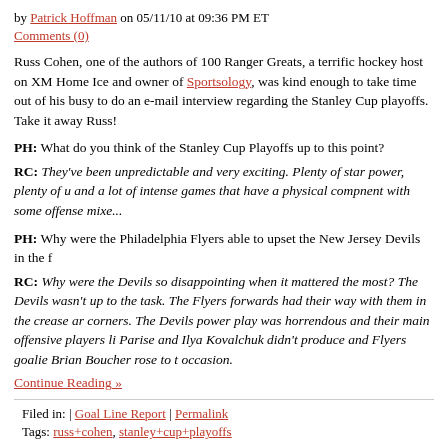by Patrick Hoffman on 05/11/10 at 09:36 PM ET
Comments (0)
Russ Cohen, one of the authors of 100 Ranger Greats, a terrific hockey host on XM Home Ice and owner of Sportsology, was kind enough to take time out of his busy to do an e-mail interview regarding the Stanley Cup playoffs. Take it away Russ!
PH: What do you think of the Stanley Cup Playoffs up to this point?
RC: They've been unpredictable and very exciting. Plenty of star power, plenty of u and a lot of intense games that have a physical compnent with some offense mixed...
PH: Why were the Philadelphia Flyers able to upset the New Jersey Devils in the f
RC: Why were the Devils so disappointing when it mattered the most? The Devils wasn't up to the task. The Flyers forwards had their way with them in the crease ar corners. The Devils power play was horrendous and their main offensive players li Parise and Ilya Kovalchuk didn't produce and Flyers goalie Brian Boucher rose to t occasion.
Continue Reading »
Filed in: | Goal Line Report | Permalink
Tags: russ+cohen, stanley+cup+playoffs
Still here
by Patrick Hoffman on 05/09/10 at 04:25 PM ET
Comments (0)